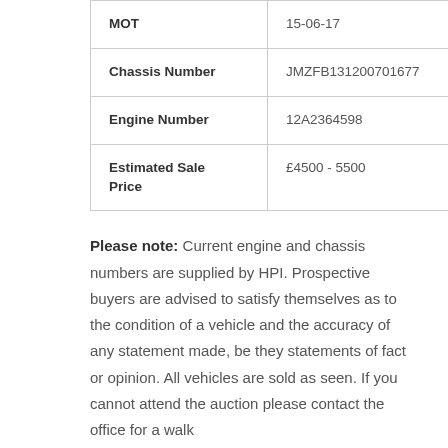| Field | Value |
| --- | --- |
| MOT | 15-06-17 |
| Chassis Number | JMZFB131200701677 |
| Engine Number | 12A2364598 |
| Estimated Sale Price | £4500 - 5500 |
Please note: Current engine and chassis numbers are supplied by HPI. Prospective buyers are advised to satisfy themselves as to the condition of a vehicle and the accuracy of any statement made, be they statements of fact or opinion. All vehicles are sold as seen. If you cannot attend the auction please contact the office for a walk